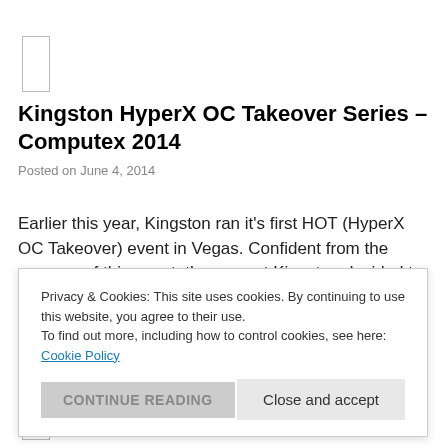Kingston HyperX OC Takeover Series – Computex 2014
Posted on June 4, 2014
Earlier this year, Kingston ran it's first HOT (HyperX OC Takeover) event in Vegas. Confident from the success of this event, the guys at Kingston decided to push the
experience further and kick-start a series of event. This series of OC competitions will be running worldwide with several famous and various places.
Privacy & Cookies: This site uses cookies. By continuing to use this website, you agree to their use.
To find out more, including how to control cookies, see here:
Cookie Policy
Close and accept
CONTINUE READING